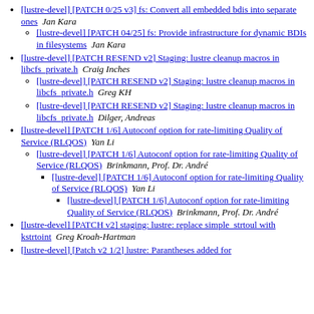[lustre-devel] [PATCH 0/25 v3] fs: Convert all embedded bdis into separate ones  Jan Kara
[lustre-devel] [PATCH 04/25] fs: Provide infrastructure for dynamic BDIs in filesystems  Jan Kara
[lustre-devel] [PATCH RESEND v2] Staging: lustre cleanup macros in libcfs_private.h  Craig Inches
[lustre-devel] [PATCH RESEND v2] Staging: lustre cleanup macros in libcfs_private.h  Greg KH
[lustre-devel] [PATCH RESEND v2] Staging: lustre cleanup macros in libcfs_private.h  Dilger, Andreas
[lustre-devel] [PATCH 1/6] Autoconf option for rate-limiting Quality of Service (RLQOS)  Yan Li
[lustre-devel] [PATCH 1/6] Autoconf option for rate-limiting Quality of Service (RLQOS)  Brinkmann, Prof. Dr. André
[lustre-devel] [PATCH 1/6] Autoconf option for rate-limiting Quality of Service (RLQOS)  Yan Li
[lustre-devel] [PATCH 1/6] Autoconf option for rate-limiting Quality of Service (RLQOS)  Brinkmann, Prof. Dr. André
[lustre-devel] [PATCH v2] staging: lustre: replace simple_strtoul with kstrtoint  Greg Kroah-Hartman
[lustre-devel] [Patch v2 1/2] lustre: Parantheses added for